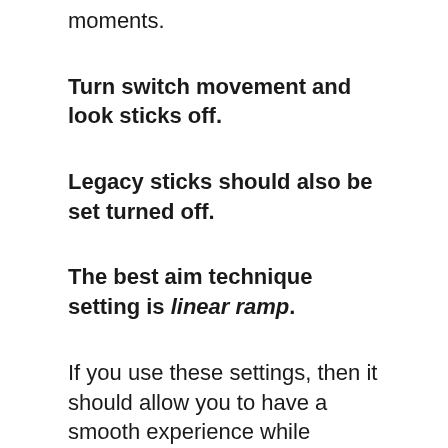moments.
Turn switch movement and look sticks off.
Legacy sticks should also be set turned off.
The best aim technique setting is linear ramp.
If you use these settings, then it should allow you to have a smooth experience while playing on consoles. Try them out and tweak them to taste.
These settings should be ideal for playing Overwatch on Playstation 4, Xbox One, and